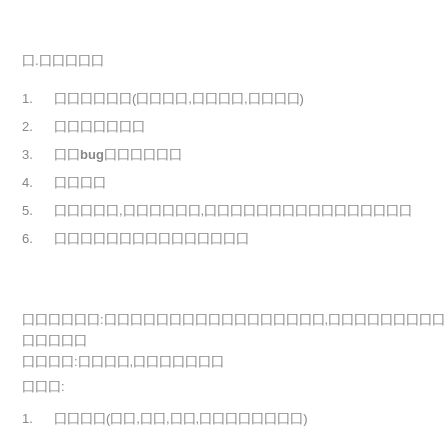囗.囗囗囗囗囗
1. 囗囗囗囗囗囗(囗囗囗囗,囗囗囗囗,囗囗囗囗)
2. 囗囗囗囗囗囗囗
3. 囗囗bug囗囗囗囗囗囗
4. 囗囗囗囗
5. 囗囗囗囗囗,囗囗囗囗囗囗,囗囗囗囗囗囗囗囗囗囗囗囗囗囗囗囗
6. 囗囗囗囗囗囗囗囗囗囗囗囗囗囗囗
囗囗囗囗囗囗:囗囗囗囗囗囗囗囗囗囗囗囗囗囗囗囗囗,囗囗囗囗囗囗囗囗囗囗囗囗囗囗
囗囗囗囗:囗囗囗囗,囗囗囗囗囗囗囗
囗囗囗:
1. 囗囗囗囗(囗囗,囗囗,囗囗,囗囗囗囗囗囗囗囗)